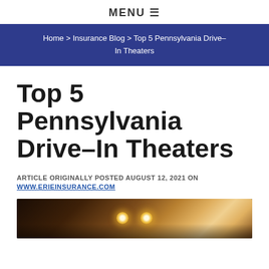MENU ≡
Home > Insurance Blog > Top 5 Pennsylvania Drive-In Theaters
Top 5 Pennsylvania Drive-In Theaters
ARTICLE ORIGINALLY POSTED AUGUST 12, 2021 ON WWW.ERIEINSURANCE.COM
[Figure (photo): Photo of people watching a drive-in theater from inside a car, warm ambient lighting visible]